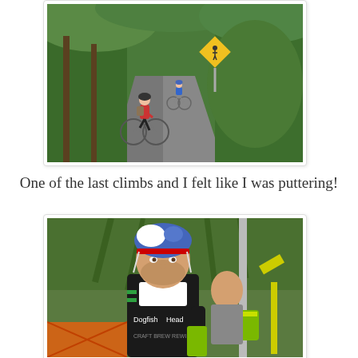[Figure (photo): Two cyclists riding on a narrow tree-lined road with green vegetation on both sides; a yellow diamond-shaped warning sign visible on the right side of the road]
One of the last climbs and I felt like I was puttering!
[Figure (photo): A man wearing a blue and white cycling helmet and a black Dogfish Head jersey holding a can, standing near orange safety fencing with green trees in the background]